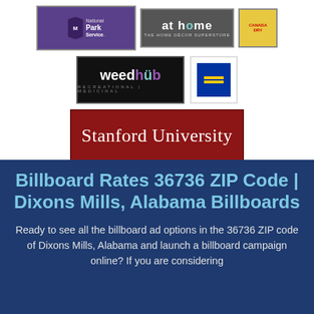[Figure (logo): National Park Service logo - purple background with shield and white text]
[Figure (logo): At Home - The Home Décor Superstore logo on dark background]
[Figure (logo): Canada Dry logo on yellow background]
[Figure (logo): WeedHub Recreational | Medicinal logo on black background]
[Figure (logo): Human Rights Campaign equality logo - blue square with yellow equals sign]
[Figure (logo): Stanford University logo on dark red background]
Billboard Rates 36736 ZIP Code | Dixons Mills, Alabama Billboards
Ready to see all the billboard ad options in the 36736 ZIP code of Dixons Mills, Alabama and launch a billboard campaign online? If you are considering